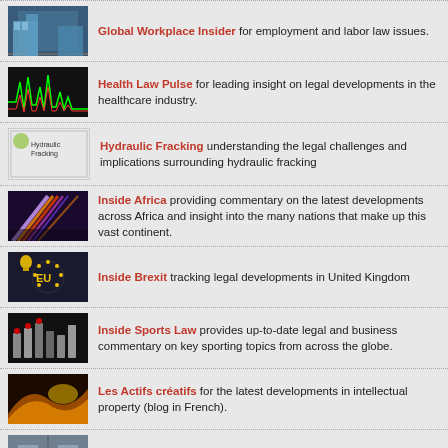Global Workplace Insider for employment and labor law issues.
Health Law Pulse for leading insight on legal developments in the healthcare industry.
Hydraulic Fracking understanding the legal challenges and implications surrounding hydraulic fracking
Inside Africa providing commentary on the latest developments across Africa and insight into the many nations that make up this vast continent.
Inside Brexit tracking legal developments in United Kingdom
Inside Sports Law provides up-to-date legal and business commentary on key sporting topics from across the globe.
Les Actifs créatifs for the latest developments in intellectual property (blog in French).
Patent Challenges for analysis of USPTO post-issuance proceedings
Pharma in Brief legal and regulatory developments affecting the pharmaceutical industry.
Project Finance News for developments affecting project finance and the energy sector.